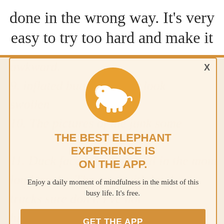done in the wrong way. It's very easy to try too hard and make it
awkward.
9. inflated butt. They just look swollen
10. The pictures of the junk some
11. Duck face tanning you'll in the mom loud trucks. The guys with loud trucks sure don't. I've not hit a woman that actually had a truck's long in the app though.
[Figure (logo): Orange circle with white elephant silhouette — Elephant app icon]
THE BEST ELEPHANT EXPERIENCE IS ON THE APP.
Enjoy a daily moment of mindfulness in the midst of this busy life. It's free.
GET THE APP
OPEN IN APP